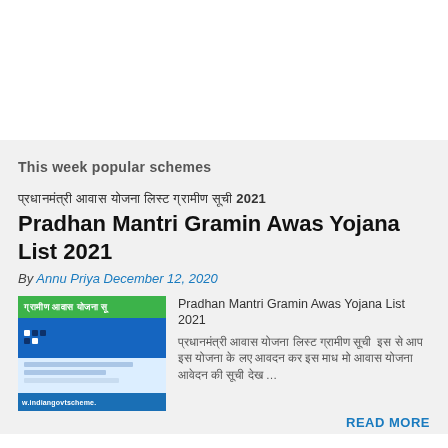[Figure (other): Advertisement / blank white area at top of page]
This week popular schemes
प्रधानमंत्री आवास योजना लिस्ट ग्रामीण सूची 2021 Pradhan Mantri Gramin Awas Yojana List 2021
By Annu Priya December 12, 2020
[Figure (screenshot): Thumbnail screenshot of Pradhan Mantri Gramin Awas Yojana website with green header bar, blue navigation, and blue footer reading 'w.indiangovtscheme.']
Pradhan Mantri Gramin Awas Yojana List 2021 प्रधानमंत्री आवास योजना लिस्ट ग्रामीण सूची  इस से आप इस योजना के लए आवदन कर इस माध मो आवास योजना आवेदन की सूची देख …
READ MORE